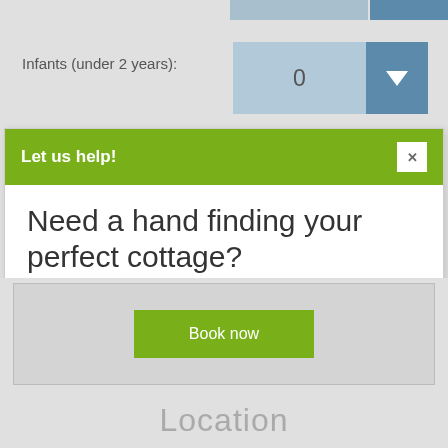Infants (under 2 years): 0
Let us help!
Need a hand finding your perfect cottage?
Simply fill out this form and we'll do the hard work for you.
Book now
Location